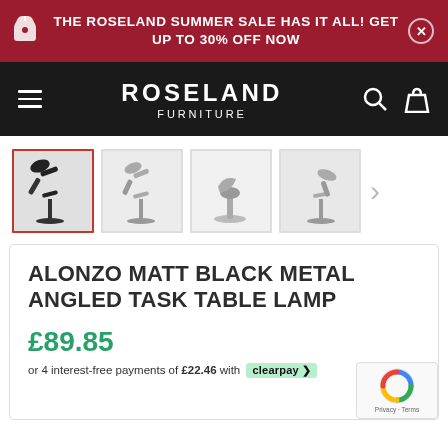THE ROSELAND SUMMER SALE HAS IT ALL! GET UP TO 30% OFF NOW
[Figure (logo): Roseland Furniture logo on black navigation bar with hamburger menu, search icon, and bag icon]
[Figure (photo): Product image gallery showing 4 thumbnail images of the Alonzo Matt Black Metal Angled Task Table Lamp from various angles, with a right arrow for more images. First thumbnail is selected with red border.]
ALONZO MATT BLACK METAL ANGLED TASK TABLE LAMP
£89.85
or 4 interest-free payments of £22.46 with Clearpay